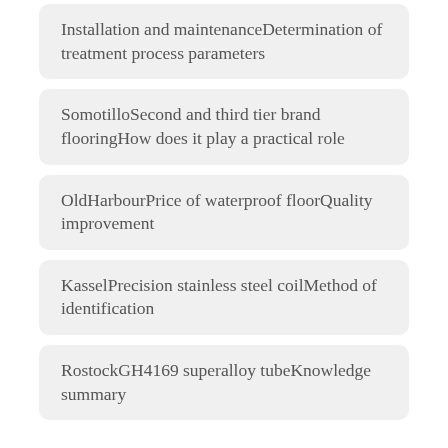Installation and maintenanceDetermination of treatment process parameters
SomotilloSecond and third tier brand flooringHow does it play a practical role
OldHarbourPrice of waterproof floorQuality improvement
KasselPrecision stainless steel coilMethod of identification
RostockGH4169 superalloy tubeKnowledge summary